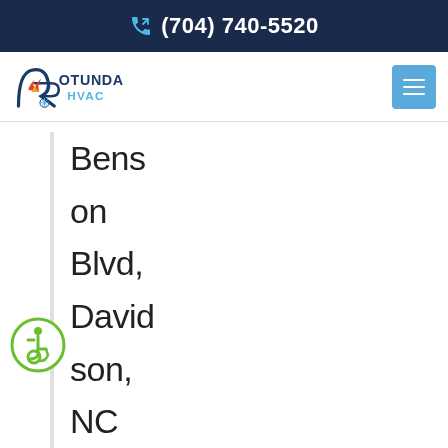(704) 740-5520
[Figure (logo): Rotunda HVAC logo with stylized R and snowflake]
Benson Blvd, Davidson, NC 28036